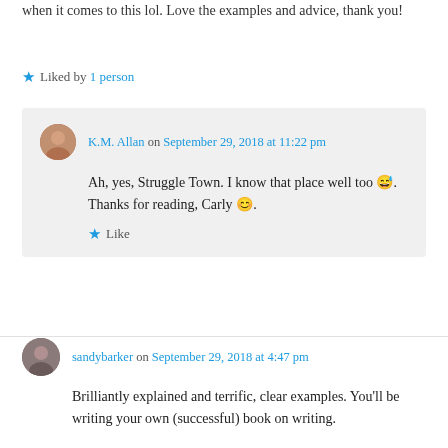when it comes to this lol. Love the examples and advice, thank you!
★ Liked by 1 person
K.M. Allan on September 29, 2018 at 11:22 pm
Ah, yes, Struggle Town. I know that place well too 😅. Thanks for reading, Carly 😊.
★ Like
sandybarker on September 29, 2018 at 4:47 pm
Brilliantly explained and terrific, clear examples. You'll be writing your own (successful) book on writing.